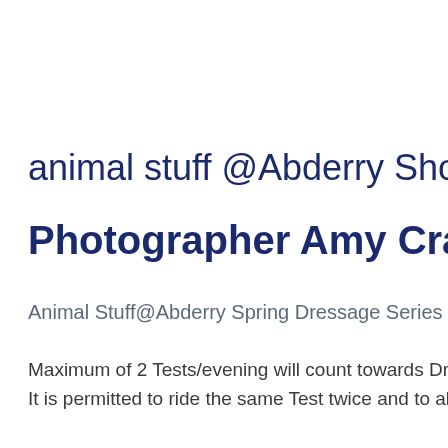animal stuff @Abderry Show N…
Photographer Amy Crawford
Animal Stuff@Abderry Spring Dressage Series Rule…
Maximum of 2 Tests/evening will count towards Dr… It is permitted to ride the same Test twice and to als…